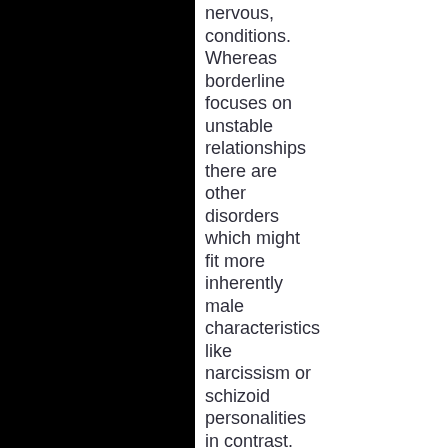nervous, conditions. Whereas borderline focuses on unstable relationships there are other disorders which might fit more inherently male characteristics like narcissism or schizoid personalities in contrast.
I know famously Joni Mitchell who had her